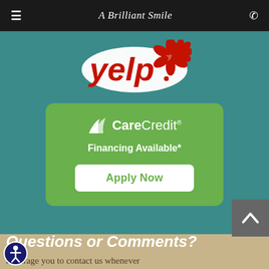A Brilliant Smile
[Figure (logo): Yelp logo with red burst icon on teal background]
[Figure (infographic): CareCredit financing card on green rounded rectangle with Apply Now button]
Questions or Comments?
ncourage you to contact us whenever you have an interest or concern about our